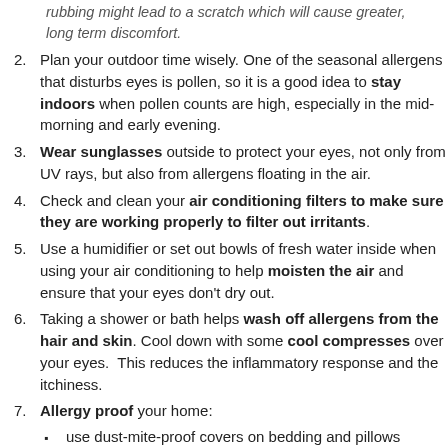rubbing might lead to a scratch which will cause greater, long term discomfort.
Plan your outdoor time wisely. One of the seasonal allergens that disturbs eyes is pollen, so it is a good idea to stay indoors when pollen counts are high, especially in the mid-morning and early evening.
Wear sunglasses outside to protect your eyes, not only from UV rays, but also from allergens floating in the air.
Check and clean your air conditioning filters to make sure they are working properly to filter out irritants.
Use a humidifier or set out bowls of fresh water inside when using your air conditioning to help moisten the air and ensure that your eyes don't dry out.
Taking a shower or bath helps wash off allergens from the hair and skin. Cool down with some cool compresses over your eyes. This reduces the inflammatory response and the itchiness.
Allergy proof your home:
use dust-mite-proof covers on bedding and pillows
clean surfaces with a damp cloth rather than dusting or dry sweeping which can just move dust to other areas or into the air